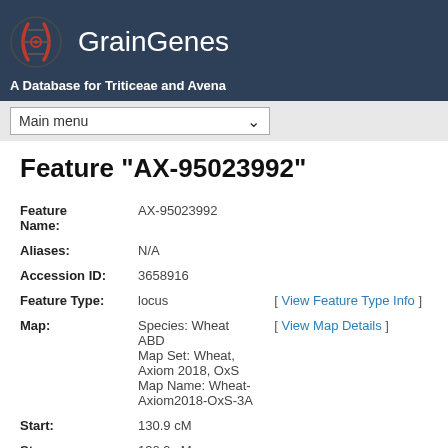GrainGenes — A Database for Triticeae and Avena
Feature "AX-95023992"
| Field | Value | Link |
| --- | --- | --- |
| Feature Name: | AX-95023992 |  |
| Aliases: | N/A |  |
| Accession ID: | 3658916 |  |
| Feature Type: | locus | [ View Feature Type Info ] |
| Map: | Species: Wheat ABD
Map Set: Wheat, Axiom 2018, OxS
Map Name: Wheat-Axiom2018-OxS-3A | [ View Map Details ] |
| Start: | 130.9 cM |  |
| Stop: | 130.9 cM |  |